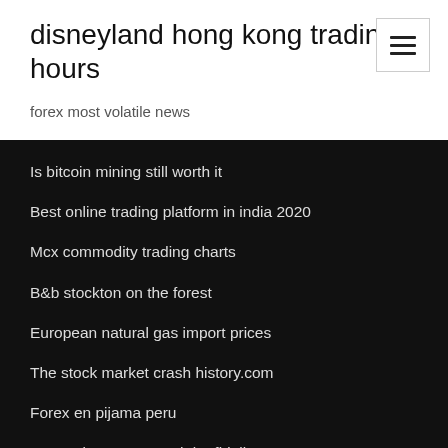disneyland hong kong trading hours
forex most volatile news
Is bitcoin mining still worth it
Best online trading platform in india 2020
Mcx commodity trading charts
B&b stockton on the forest
European natural gas import prices
The stock market crash history.com
Forex en pijama peru
How to invest your roth ira fidelity
Good investment accounts